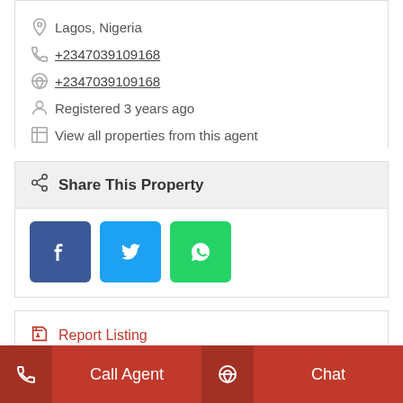Lagos, Nigeria
+2347039109168
+2347039109168
Registered 3 years ago
View all properties from this agent
Share This Property
[Figure (other): Social share buttons: Facebook, Twitter, WhatsApp]
Report Listing
Call Agent  Chat